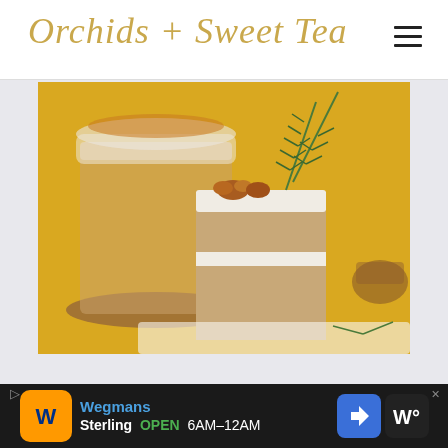Orchids + Sweet Tea
[Figure (photo): A slice of layered cake with white frosting, topped with candied walnuts and fresh rosemary sprigs, with a full cake blurred in the background against a yellow background.]
Wegmans
Sterling  OPEN  6AM–12AM